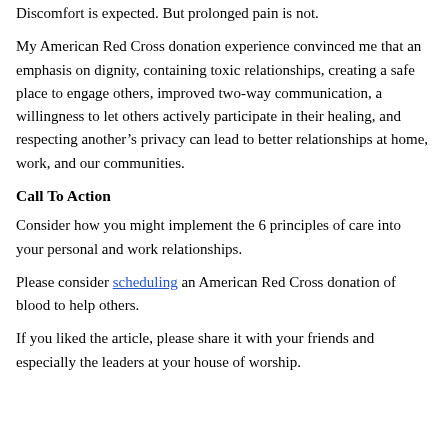Discomfort is expected. But prolonged pain is not.
My American Red Cross donation experience convinced me that an emphasis on dignity, containing toxic relationships, creating a safe place to engage others, improved two-way communication, a willingness to let others actively participate in their healing, and respecting another’s privacy can lead to better relationships at home, work, and our communities.
Call To Action
Consider how you might implement the 6 principles of care into your personal and work relationships.
Please consider scheduling an American Red Cross donation of blood to help others.
If you liked the article, please share it with your friends and especially the leaders at your house of worship.